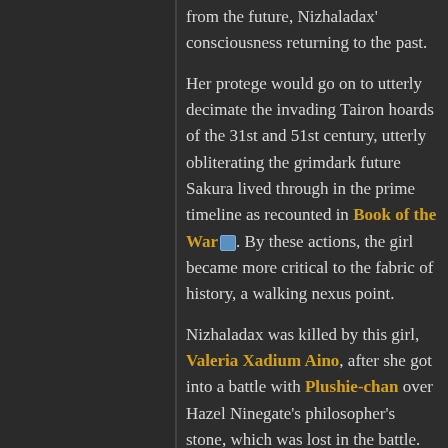from the future, Nizhaladax' consciousness returning to the past.
Her protege would go on to utterly decimate the invading Tairon hoards of the 31st and 51st century, utterly obliterating the grimdark future Sakura lived through in the prime timeline as recounted in Book of the War. By these actions, the girl became more critical to the fabric of history, a walking nexus point.
Nizhaladax was killed by this girl, Valeria Xadium Aino, after she got into a battle with Plushie-chan over Hazel Ninegate's philosopher's stone, which was lost in the battle.
The Black Hand, Reloaded